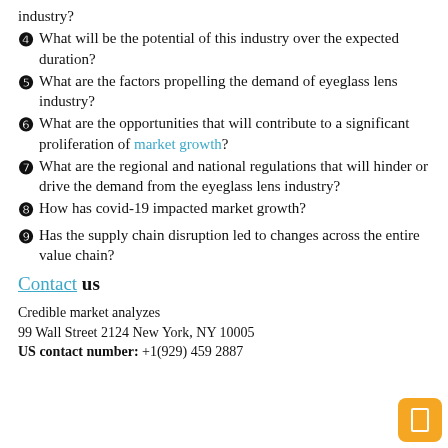industry?
❹ What will be the potential of this industry over the expected duration?
❺ What are the factors propelling the demand of eyeglass lens industry?
❻ What are the opportunities that will contribute to a significant proliferation of market growth?
❼ What are the regional and national regulations that will hinder or drive the demand from the eyeglass lens industry?
❽ How has covid-19 impacted market growth?
❾ Has the supply chain disruption led to changes across the entire value chain?
Contact us
Credible market analyzes
99 Wall Street 2124 New York, NY 10005
US contact number: +1(929) 459 2887